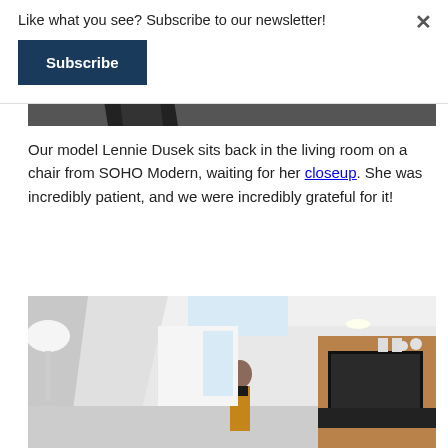Like what you see? Subscribe to our newsletter!
Subscribe
[Figure (photo): Top portion of an interior/architectural photograph showing a staircase and modern interior space, partially visible at the top of the page.]
Our model Lennie Dusek sits back in the living room on a chair from SOHO Modern, waiting for her closeup. She was incredibly patient, and we were incredibly patient, and we were incredibly grateful for it!
[Figure (photo): Interior photo of a modern living room with high ceilings, a woman standing in the middle, artwork on the walls, a TV on a dark console, and white sculptural elements on the left.]